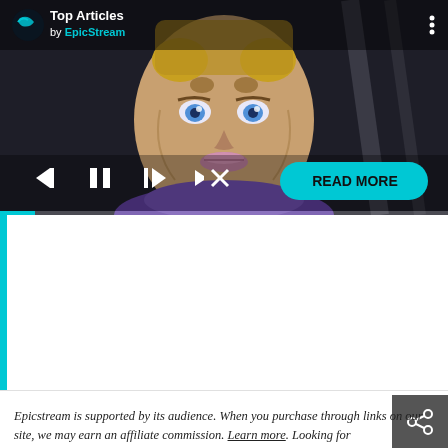[Figure (screenshot): Embedded video player showing an anime character (JoJo's Bizarre Adventure style) with blue eyes, yellow hair bumps, and purple clothing. Top bar shows 'Top Articles by EpicStream' logo. Controls bar shows skip-back, pause, skip-forward, mute icons and a cyan 'READ MORE' pill button. Cyan progress bar at bottom left.]
Epicstream is supported by its audience. When you purchase through links on our site, we may earn an affiliate commission. Learn more. Looking for
[Figure (other): Dark grey share button with share/network icon in white, positioned at top-right of lower section.]